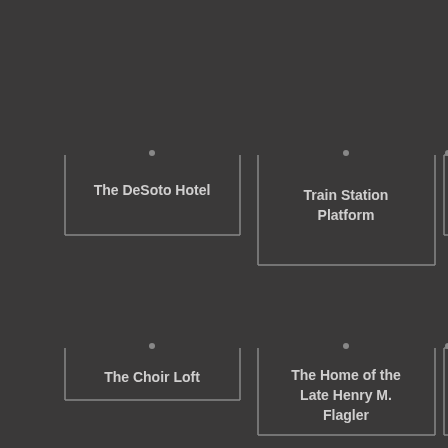[Figure (organizational-chart): Partial organizational chart or navigation map on a dark background showing location/scene cards: 'The DeSoto Hotel', 'Train Station Platform', 'The Flo...' (partially visible), 'The Choir Loft', 'The Home of the Late Henry M. Flagler', 'Rainwa... Tank a... Se...' (partially visible). Cards have connecting dots at top and border lines on left, right, and bottom sides.]